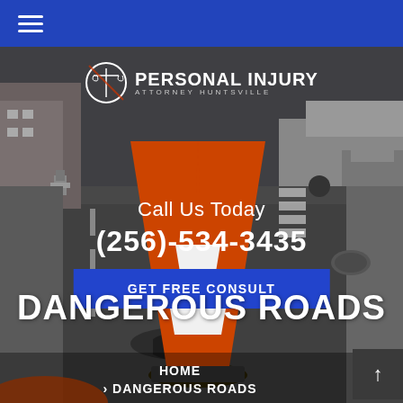Navigation bar with hamburger menu
[Figure (photo): Street-level photo of an urban road with a red and white traffic cone near a pothole/crack in the road surface, with a truck and parked cars visible in the background. Scene depicts road damage and dangerous road conditions.]
PERSONAL INJURY ATTORNEY HUNTSVILLE
Call Us Today
(256)-534-3435
GET FREE CONSULT
DANGEROUS ROADS
HOME
DANGEROUS ROADS